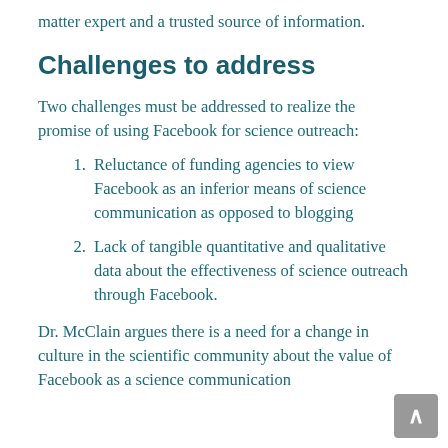matter expert and a trusted source of information.
Challenges to address
Two challenges must be addressed to realize the promise of using Facebook for science outreach:
Reluctance of funding agencies to view Facebook as an inferior means of science communication as opposed to blogging
Lack of tangible quantitative and qualitative data about the effectiveness of science outreach through Facebook.
Dr. McClain argues there is a need for a change in culture in the scientific community about the value of Facebook as a science communication